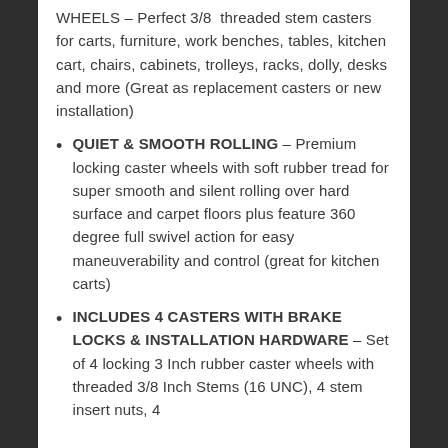WHEELS – Perfect 3/8  threaded stem casters for carts, furniture, work benches, tables, kitchen cart, chairs, cabinets, trolleys, racks, dolly, desks and more (Great as replacement casters or new installation)
QUIET & SMOOTH ROLLING – Premium locking caster wheels with soft rubber tread for super smooth and silent rolling over hard surface and carpet floors plus feature 360 degree full swivel action for easy maneuverability and control (great for kitchen carts)
INCLUDES 4 CASTERS WITH BRAKE LOCKS & INSTALLATION HARDWARE – Set of 4 locking 3 Inch rubber caster wheels with threaded 3/8 Inch Stems (16 UNC), 4 stem insert nuts, 4